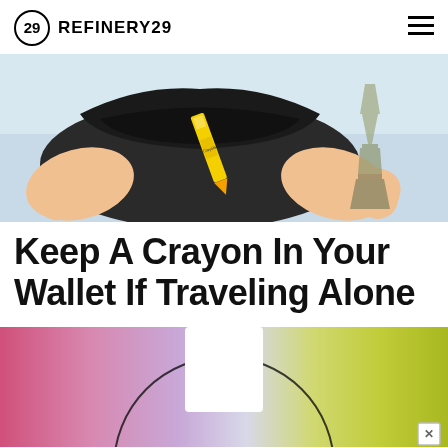REFINERY29
[Figure (photo): Hands holding open an empty dark wallet with a yellow Crayola crayon inside, with the Eiffel Tower visible in the background.]
Keep A Crayon In Your Wallet If Traveling Alone
[Figure (photo): Colorful gradient image transitioning from pink/magenta on the left through purple and yellow-green on the right, with a white rectangular shape in the center-top area, partially overlaid by a circular arc element.]